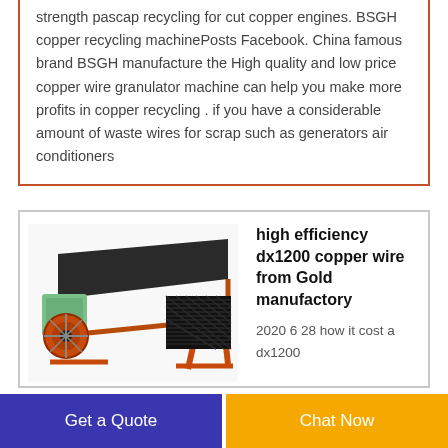strength pascap recycling for cut copper engines. BSGH copper recycling machinePosts Facebook. China famous brand BSGH manufacture the High quality and low price copper wire granulator machine can help you make more profits in copper recycling . if you have a considerable amount of waste wires for scrap such as generators air conditioners
[Figure (photo): Photo of a high efficiency dx1200 copper wire granulator machine with red frame and green motor unit, plus a close-up texture of granulated copper material]
high efficiency dx1200 copper wire from Gold manufactory
2020 6 28 how it cost a dx1200